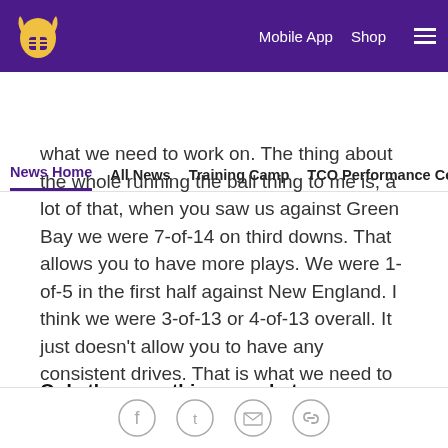Minnesota Vikings — Mobile App  Shop  [menu]
News Home  All News  Training Camp  TCO Performance Center
what we need to work on. The thing about the whole running the ball thing to me is, a lot of that, when you saw us against Green Bay we were 7-of-14 on third downs. That allows you to have more plays. We were 1-of-5 in the first half against New England. I think we were 3-of-13 or 4-of-13 overall. It just doesn't allow you to have any consistent drives. That is what we need to just keep always striving to do is just stay consistent with third down red zone situational football because that allows you to extend drives and extend plays.
Q: Is there anything you do to prepare your players